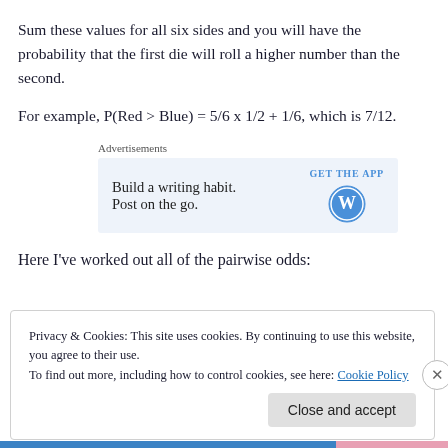Sum these values for all six sides and you will have the probability that the first die will roll a higher number than the second.
For example, P(Red > Blue) = 5/6 x 1/2 + 1/6, which is 7/12.
[Figure (other): Advertisement banner: 'Build a writing habit. Post on the go.' with GET THE APP button and WordPress logo]
Here I've worked out all of the pairwise odds:
Privacy & Cookies: This site uses cookies. By continuing to use this website, you agree to their use.
To find out more, including how to control cookies, see here: Cookie Policy